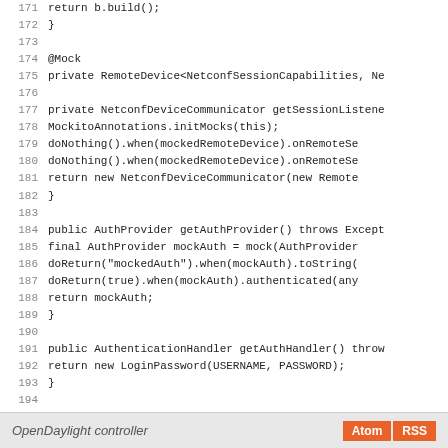[Figure (screenshot): Java source code snippet showing lines 171-199 of a NetconfDeviceCommunicator test class with mock setup methods and override methods]
OpenDaylight controller   Atom  RSS